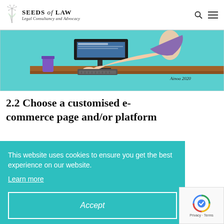SEEDS of LAW — Legal Consultancy and Advocacy
[Figure (illustration): Cartoon illustration of a person reaching over a desk with a computer monitor, drawn in a comic style. Signed 'Ainoa 2020'. Background is teal/cyan.]
2.2 Choose a customised e-commerce page and/or platform
...ask your ...commerce ...importa... ...best s... the products or services you offer and the way
This website uses cookies to ensure you get the best experience on our website. Learn more
Accept